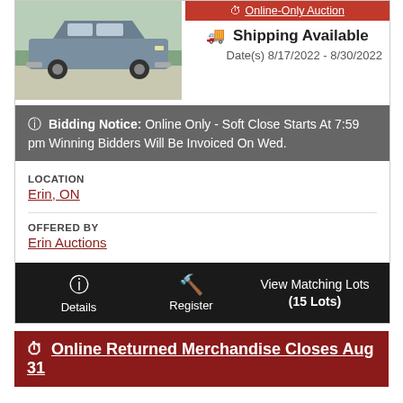[Figure (photo): Photo of a classic silver/blue Rolls-Royce or similar luxury sedan parked on a light-colored surface outdoors]
Online-Only Auction
🚚 Shipping Available
Date(s) 8/17/2022 - 8/30/2022
ℹ Bidding Notice: Online Only - Soft Close Starts At 7:59 pm Winning Bidders Will Be Invoiced On Wed.
LOCATION
Erin, ON
OFFERED BY
Erin Auctions
Details
Register
View Matching Lots (15 Lots)
Online Returned Merchandise Closes Aug 31